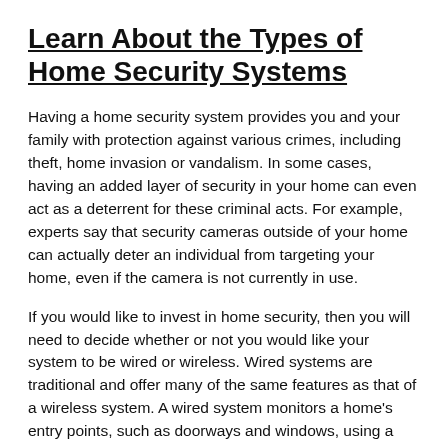Learn About the Types of Home Security Systems
Having a home security system provides you and your family with protection against various crimes, including theft, home invasion or vandalism. In some cases, having an added layer of security in your home can even act as a deterrent for these criminal acts. For example, experts say that security cameras outside of your home can actually deter an individual from targeting your home, even if the camera is not currently in use.
If you would like to invest in home security, then you will need to decide whether or not you would like your system to be wired or wireless. Wired systems are traditional and offer many of the same features as that of a wireless system. A wired system monitors a home’s entry points, such as doorways and windows, using a low-voltage